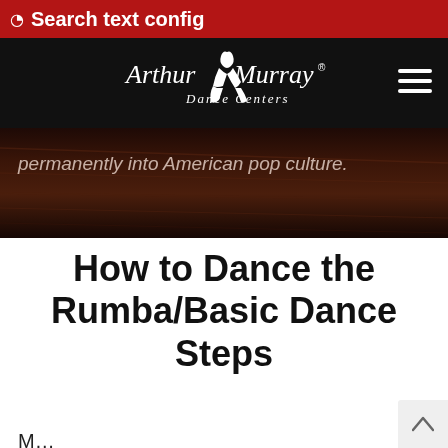Search text config
[Figure (logo): Arthur Murray Dance Centers logo — white script text on black background with a dancing couple silhouette]
[Figure (photo): Dark reddish-brown wooden dance floor background with partially visible italic text reading 'permanently into American pop culture.']
How to Dance the Rumba/Basic Dance Steps
M…